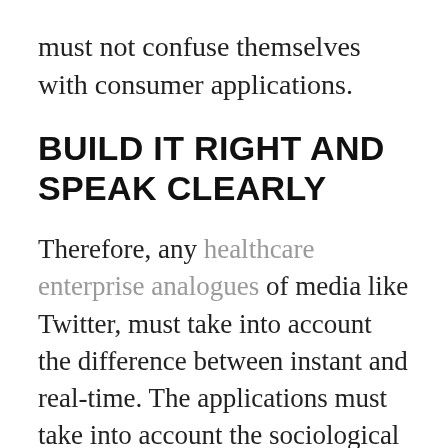must not confuse themselves with consumer applications.
BUILD IT RIGHT AND SPEAK CLEARLY
Therefore, any healthcare enterprise analogues of media like Twitter, must take into account the difference between instant and real-time. The applications must take into account the sociological and informational needs of clinical processes.
Otherwise, disaster is certainly built-